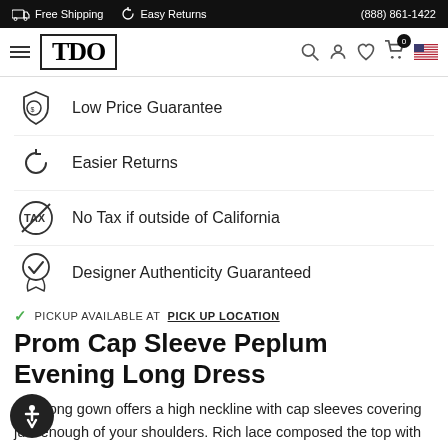Free Shipping   Easy Returns   (888) 861-1422
[Figure (logo): TDO logo in bordered box with hamburger menu, search, user, heart, cart and flag icons]
Low Price Guarantee
Easier Returns
No Tax if outside of California
Designer Authenticity Guaranteed
PICKUP AVAILABLE AT PICK UP LOCATION
Prom Cap Sleeve Peplum Evening Long Dress
This long gown offers a high neckline with cap sleeves covering just enough of your shoulders. Rich lace composed the top with beading belted the peplum waist. The sheer cutout at the back shows a glimpse of your flattering contours. Perfect for